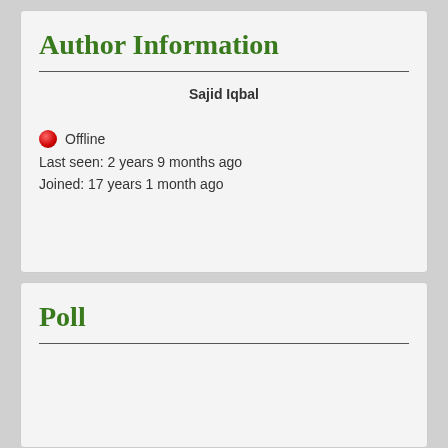Author Information
Sajid Iqbal
🔴 Offline
Last seen: 2 years 9 months ago
Joined: 17 years 1 month ago
Poll